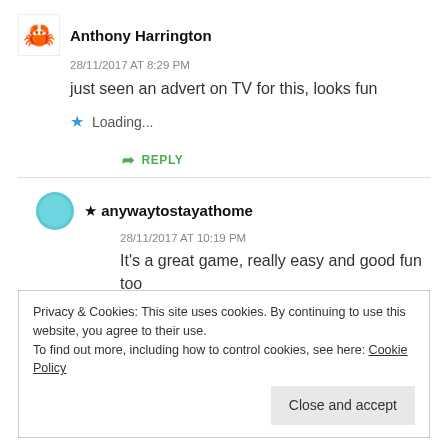Anthony Harrington
28/11/2017 AT 8:29 PM
just seen an advert on TV for this, looks fun
Loading...
REPLY
★ anywaytostayathome
28/11/2017 AT 10:19 PM
It's a great game, really easy and good fun too
Privacy & Cookies: This site uses cookies. By continuing to use this website, you agree to their use.
To find out more, including how to control cookies, see here: Cookie Policy
Close and accept